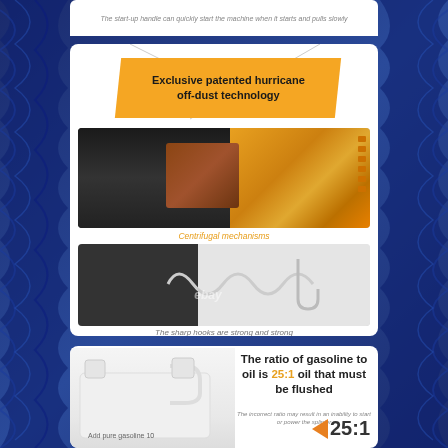[Figure (photo): Product infographic page with blue wavy background, multiple white cards showing chainsaw/power tool features]
The start-up handle can quickly start the machine when it starts and pulls slowly
[Figure (infographic): Yellow/orange banner with text: Exclusive patented hurricane off-dust technology. Below: close-up photo of centrifugal mechanism (orange power tool part), labeled 'Centrifugal mechanisms'. Below that: photo of snap hooks labeled 'The sharp hooks are strong and strong'.]
Centrifugal mechanisms
The sharp hooks are strong and strong
[Figure (photo): White plastic fuel jug/container. Text overlay: The ratio of gasoline to oil is 25:1 oil that must be flushed. Sub-text: The incorrect ratio may result in an inability to start or power the splitter. Orange arrow pointing to 25:1 label. Bottom of jug reads: Add pure gasoline 10]
The ratio of gasoline to oil is 25:1 oil that must be flushed
The incorrect ratio may result in an inability to start or power the splinter
Add pure gasoline 10